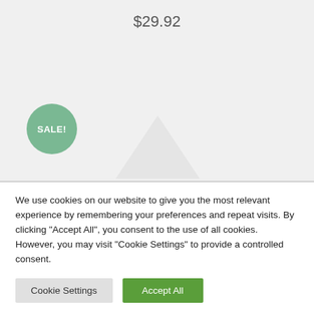$29.92
[Figure (illustration): Sale badge circle with text SALE! in green, and a faint placeholder product icon in background]
We use cookies on our website to give you the most relevant experience by remembering your preferences and repeat visits. By clicking "Accept All", you consent to the use of all cookies. However, you may visit "Cookie Settings" to provide a controlled consent.
Cookie Settings
Accept All